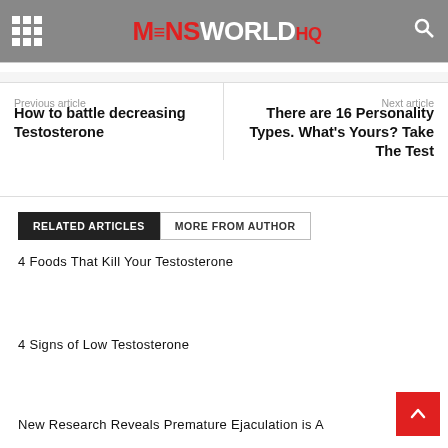MENSWORLDHQ
Previous article
How to battle decreasing Testosterone
Next article
There are 16 Personality Types. What's Yours? Take The Test
RELATED ARTICLES  MORE FROM AUTHOR
4 Foods That Kill Your Testosterone
4 Signs of Low Testosterone
New Research Reveals Premature Ejaculation is A